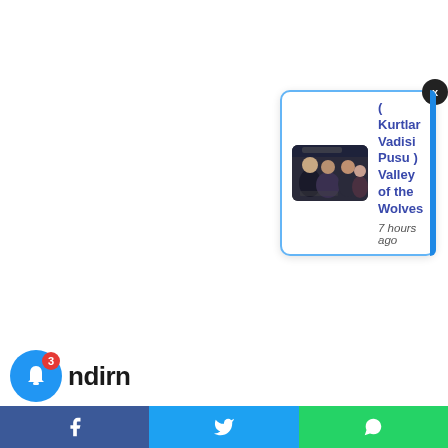[Figure (screenshot): Website screenshot showing a notification popup card for '( Kurtlar Vadisi Pusu ) Valley of the Wolves' posted 7 hours ago, with a thumbnail image of the show, a bell notification icon with badge count 3, partial site logo text, a blue X close button, and a social share bar at the bottom with Facebook, Twitter, and WhatsApp buttons.]